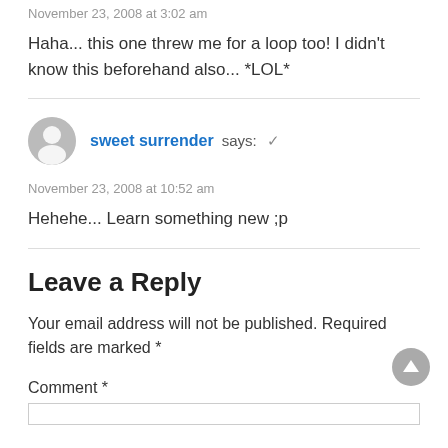November 23, 2008 at 3:02 am
Haha... this one threw me for a loop too! I didn't know this beforehand also... *LOL*
sweet surrender says: ✓
November 23, 2008 at 10:52 am
Hehehe... Learn something new ;p
Leave a Reply
Your email address will not be published. Required fields are marked *
Comment *